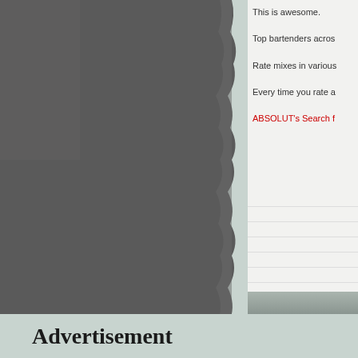[Figure (photo): Dark grey textured torn-paper or stone-like image occupying the left two-thirds of the page]
This is awesome.
Top bartenders acros
Rate mixes in various
Every time you rate a
ABSOLUT's Search f
Advertisement